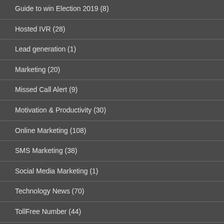Guide to win Election 2019 (8)
Hosted IVR (28)
Lead generation (1)
Marketing (20)
Missed Call Alert (9)
Motivation & Productivity (30)
Online Marketing (108)
SMS Marketing (38)
Social Media Marketing (1)
Technology News (70)
TollFree Number (44)
Tutorials (6)
video conferencing (20)